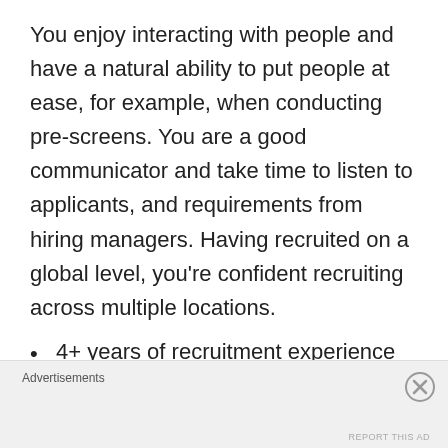You enjoy interacting with people and have a natural ability to put people at ease, for example, when conducting pre-screens. You are a good communicator and take time to listen to applicants, and requirements from hiring managers. Having recruited on a global level, you're confident recruiting across multiple locations.
4+ years of recruitment experience in an agency, or in-house.
Experience recruiting across a number of disciplines, including Technology specialists.
Advertisements